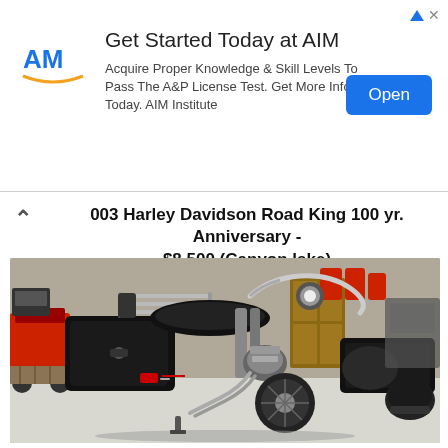[Figure (infographic): AIM advertisement banner with logo, headline 'Get Started Today at AIM', body text, and blue Open button]
003 Harley Davidson Road King 100 yr. Anniversary - $8,500 (Canyon lake)
[Figure (photo): Photo of a black Harley Davidson Road King motorcycle parked in a garage, showing saddlebags, luggage rack, chrome handlebars, and engine details. Background shows a red mower, gas cans, a cabinet, and a helmet.]